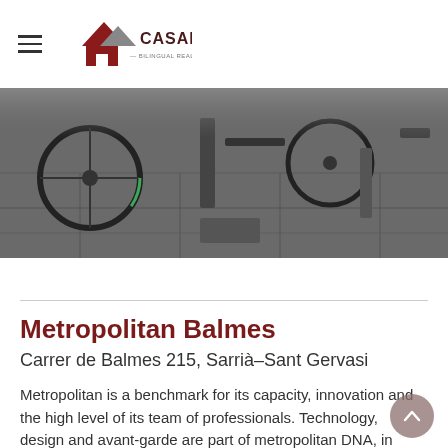CASAMONA — Bilingual Real Estate
[Figure (photo): Black and white photo of bicycles and gym equipment on a tiled floor]
Metropolitan Balmes
Carrer de Balmes 215, Sarrià–Sant Gervasi
Metropolitan is a benchmark for its capacity, innovation and the high level of its team of professionals. Technology, design and avant-garde are part of metropolitan DNA, in each center every little detail has been taken care of, so that members enjoy maximum comfort and well-being during their